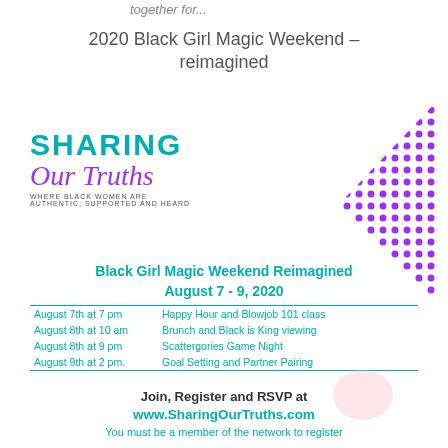together for...
2020 Black Girl Magic Weekend – reimagined
[Figure (logo): Sharing Our Truths logo with teal 'SHARING' text, purple cursive 'OUR TRUTHS' text, and tagline 'WHERE BLACK WOMEN ARE AUTHENTIC, SUPPORTED AND HEARD']
[Figure (illustration): Purple dot pattern forming a diagonal triangle/arrow shape in upper right area]
Black Girl Magic Weekend Reimagined
August 7 - 9, 2020
| August  7th at 7 pm | Happy Hour and Blowjob 101 class |
| August 8th at 10 am | Brunch and Black is King viewing |
| August 8th at 9 pm | Scattergories Game Night |
| August 9th at 2 pm. | Goal Setting and Partner Pairing |
Join, Register and RSVP at
www.SharingOurTruths.com
You must be a member of the network to register